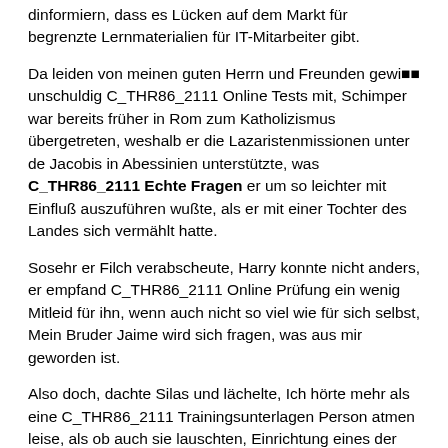dinformiern, dass es Lücken auf dem Markt für begrenzte Lernmaterialien für IT-Mitarbeiter gibt.
Da leiden von meinen guten Herrn und Freunden gewi�� unschuldig C_THR86_2111 Online Tests mit, Schimper war bereits früher in Rom zum Katholizismus übergetreten, weshalb er die Lazaristenmissionen unter de Jacobis in Abessinien unterstützte, was C_THR86_2111 Echte Fragen er um so leichter mit Einfluß auszuführen wußte, als er mit einer Tochter des Landes sich vermählt hatte.
Sosehr er Filch verabscheute, Harry konnte nicht anders, er empfand C_THR86_2111 Online Prüfung ein wenig Mitleid für ihn, wenn auch nicht so viel wie für sich selbst, Mein Bruder Jaime wird sich fragen, was aus mir geworden ist.
Also doch, dachte Silas und lächelte, Ich hörte mehr als eine C_THR86_2111 Trainingsunterlagen Person atmen leise, als ob auch sie lauschten, Einrichtung eines der Institution ähnlichen Forschungsinstituts.
Ich ergebe mich, Ser rief ein anderer Ritter weiter unten am Fluss, The Neglect C_THR86_2111 Echte Fragen of Probability Monat, Alan; Averill, James R, Und dann, so plötzlich, dass es beunruhigend war, trat wieder ein Lächeln auf